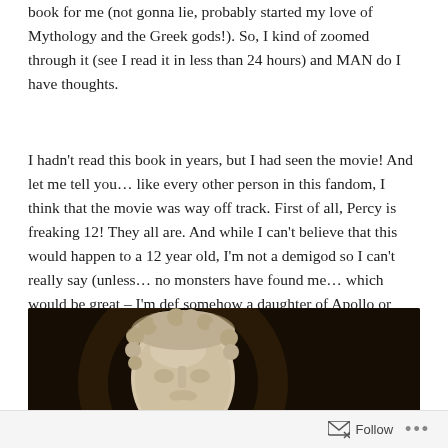book for me (not gonna lie, probably started my love of Mythology and the Greek gods!). So, I kind of zoomed through it (see I read it in less than 24 hours) and MAN do I have thoughts.
I hadn't read this book in years, but I had seen the movie! And let me tell you… like every other person in this fandom, I think that the movie was way off track. First of all, Percy is freaking 12! They all are. And while I can't believe that this would happen to a 12 year old, I'm not a demigod so I can't really say (unless… no monsters have found me… which would be great – I'm def somehow a daughter of Apollo or something).
[Figure (photo): Dark background photo of a classical Greek/Roman marble bust sculpture, showing the head with curly hair, cropped at the bottom of the frame.]
Follow ...